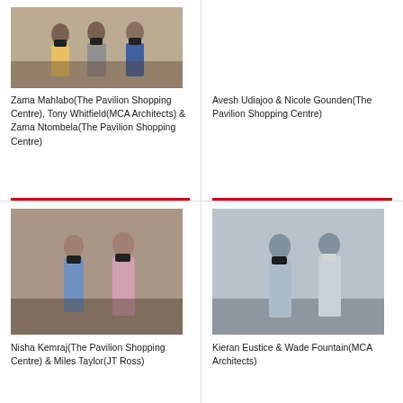[Figure (photo): Three people wearing masks standing together indoors at The Pavilion Shopping Centre event]
Zama Mahlabo(The Pavilion Shopping Centre), Tony Whitfield(MCA Architects) & Zama Ntombela(The Pavilion Shopping Centre)
[Figure (photo): Two people wearing masks: Avesh Udiajoo and Nicole Gounden from The Pavilion Shopping Centre]
Avesh Udiajoo & Nicole Gounden(The Pavilion Shopping Centre)
[Figure (photo): Two people wearing masks: Nisha Kemraj from The Pavilion Shopping Centre and Miles Taylor from JT Ross]
Nisha Kemraj(The Pavilion Shopping Centre) & Miles Taylor(JT Ross)
[Figure (photo): Two men wearing masks standing outside: Kieran Eustice and Wade Fountain from MCA Architects]
Kieran Eustice & Wade Fountain(MCA Architects)